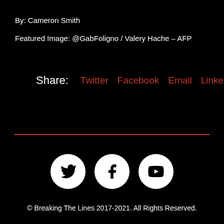By: Cameron Smith
Featured Image: @GabFoligno / Valery Hache – AFP
Share:  Twitter  Facebook  Email  LinkedIn
[Figure (illustration): Red horizontal divider line]
[Figure (illustration): Three circular social media icons: Twitter, Facebook, YouTube]
© Breaking The Lines 2017-2021. All Rights Reserved.